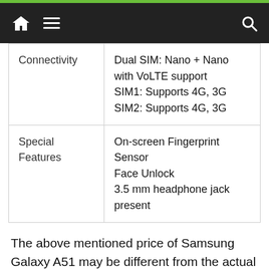Navigation bar with home icon, menu, and search
| Connectivity | Dual SIM: Nano + Nano with VoLTE support
SIM1: Supports 4G, 3G
SIM2: Supports 4G, 3G |
| Special Features | On-screen Fingerprint Sensor
Face Unlock
3.5 mm headphone jack present |
The above mentioned price of Samsung Galaxy A51 may be different from the actual market rates in Pakistan. To verify the actual price of Samsung Galaxy A51 in Pakistan, please visit nearest mobile shops